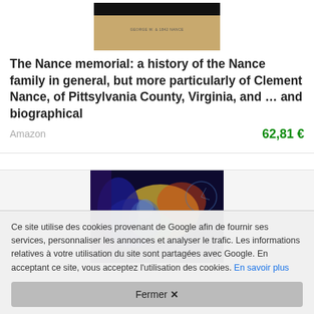[Figure (photo): Book cover for The Nance Memorial with a tan/beige background, black bar at top, and small text 'GEORGE W. & 1842 NANCE' in center]
The Nance memorial: a history of the Nance family in general, but more particularly of Clement Nance, of Pittsylvania County, Virginia, and ... and biographical
Amazon    62,81 €
[Figure (photo): Dark colorful abstract image with a person's face visible, illuminated with blue, yellow, and multicolored light]
Ce site utilise des cookies provenant de Google afin de fournir ses services, personnaliser les annonces et analyser le trafic. Les informations relatives à votre utilisation du site sont partagées avec Google. En acceptant ce site, vous acceptez l'utilisation des cookies. En savoir plus
Fermer ✕